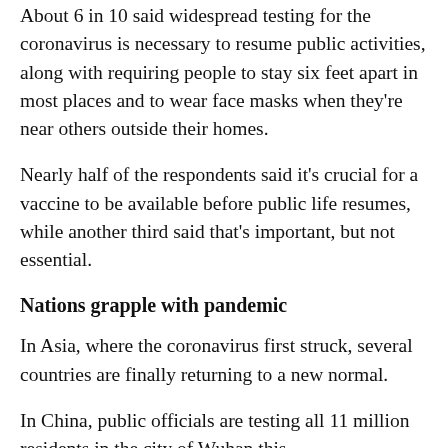About 6 in 10 said widespread testing for the coronavirus is necessary to resume public activities, along with requiring people to stay six feet apart in most places and to wear face masks when they're near others outside their homes.
Nearly half of the respondents said it's crucial for a vaccine to be available before public life resumes, while another third said that's important, but not essential.
Nations grapple with pandemic
In Asia, where the coronavirus first struck, several countries are finally returning to a new normal.
In China, public officials are testing all 11 million residents in the city of Wuhan this